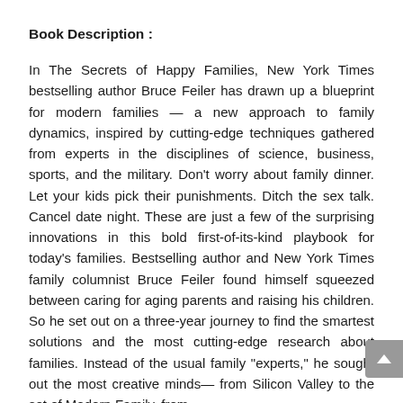Book Description :
In The Secrets of Happy Families, New York Times bestselling author Bruce Feiler has drawn up a blueprint for modern families — a new approach to family dynamics, inspired by cutting-edge techniques gathered from experts in the disciplines of science, business, sports, and the military. Don't worry about family dinner. Let your kids pick their punishments. Ditch the sex talk. Cancel date night. These are just a few of the surprising innovations in this bold first-of-its-kind playbook for today's families. Bestselling author and New York Times family columnist Bruce Feiler found himself squeezed between caring for aging parents and raising his children. So he set out on a three-year journey to find the smartest solutions and the most cutting-edge research about families. Instead of the usual family "experts," he sought out the most creative minds— from Silicon Valley to the set of Modern Family, from